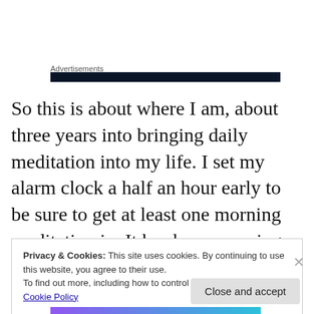Advertisements
[Figure (other): Dark advertisement banner bar]
So this is about where I am, about three years into bringing daily meditation into my life. I set my alarm clock a half an hour early to be sure to get at least one morning meditation in. It has been amazing, life still has it’s ups and downs, but I’m able to deal with them in a calmer way. This blog started as a journal about what I was noticing in
Privacy & Cookies: This site uses cookies. By continuing to use this website, you agree to their use.
To find out more, including how to control cookies, see here: Cookie Policy
Close and accept